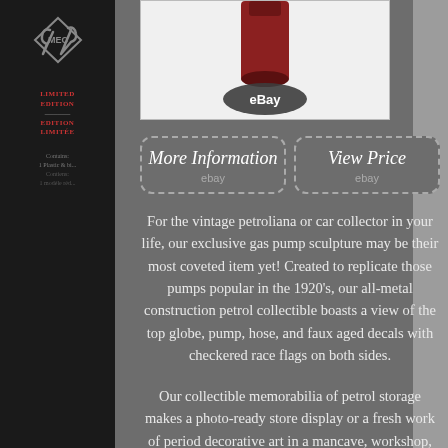[Figure (photo): eBay product listing page showing a vintage gas pump sculpture with eBay logo overlay, dark product box on left side with wrench/tool icon and 'LIMITED EDITION / EDITION LIMITÉE' text]
[Figure (other): More Information button with dashed border and eBay label]
[Figure (other): View Price button with dashed border and eBay label]
For the vintage petroliana or car collector in your life, our exclusive gas pump sculpture may be their most coveted item yet! Created to replicate those pumps popular in the 1920's, our all-metal construction petrol collectible boasts a view of the top globe, pump, hose, and faux aged decals with checkered race flags on both sides.
Our collectible memorabilia of petrol storage makes a photo-ready store display or a fresh work of period decorative art in a mancave, workshop, studio or imaginative home. 22" D x 71.5" H. 61 x 26 x 26 inches; 56 Pounds. Hand-crafted by highly skilled artisans using all metal construction. Each piece is individually material hand-painted by our artisans.